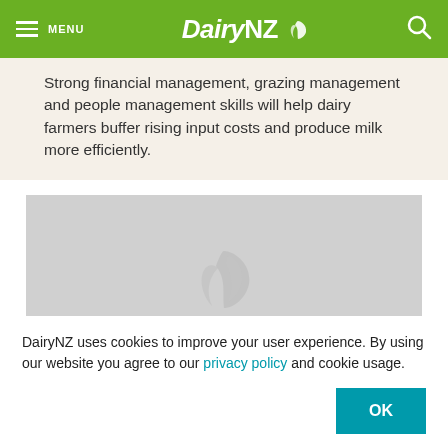MENU | DairyNZ
Strong financial management, grazing management and people management skills will help dairy farmers buffer rising input costs and produce milk more efficiently.
[Figure (other): DairyNZ video loading placeholder with grey background showing DairyNZ logo watermark and LOADING text]
DairyNZ uses cookies to improve your user experience. By using our website you agree to our privacy policy and cookie usage.
OK